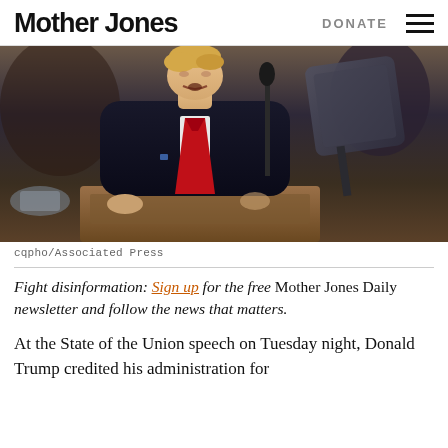Mother Jones  DONATE ≡
[Figure (photo): Donald Trump speaking at a podium during the State of the Union address, wearing a dark suit and red tie, with a teleprompter visible to his right.]
cqpho/Associated Press
Fight disinformation: Sign up for the free Mother Jones Daily newsletter and follow the news that matters.
At the State of the Union speech on Tuesday night, Donald Trump credited his administration for